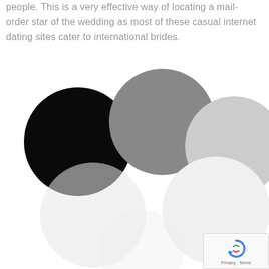people. This is a very effective way of locating a mail-order star of the wedding as most of these casual internet dating sites cater to international brides.
[Figure (illustration): Six overlapping circles in varying shades from black to white/light gray, arranged in a scattered pattern suggesting a loading or progress indicator (reCAPTCHA spinner). Top row: black circle (left), medium gray circle (center), light gray circle (right). Bottom row: very light gray circles fading nearly to white.]
[Figure (logo): reCAPTCHA badge in bottom-right corner with circular arrow icon and 'Privacy - Terms' text]